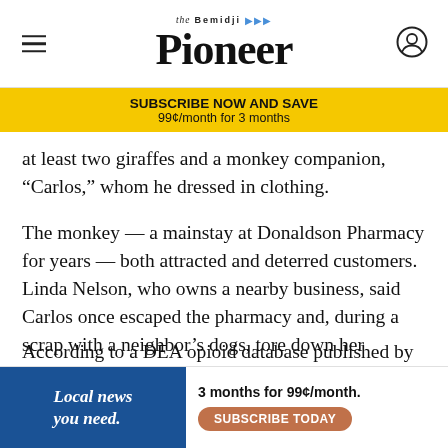Bemidji Pioneer
SUBSCRIBE NOW AND SAVE
99¢/month for 3 months
at least two giraffes and a monkey companion, “Carlos,” whom he dressed in clothing.
The monkey — a mainstay at Donaldson Pharmacy for years — both attracted and deterred customers. Linda Nelson, who owns a nearby business, said Carlos once escaped the pharmacy and, during a scrap with a neighbor’s dogs, tore down her mailbox by snapping its wooden post in half.
But the monkey wasn’t the only reason Donaldson Phar...
According to a DEA opioid database published by
Local news you need.  3 months for 99¢/month. SUBSCRIBE TODAY